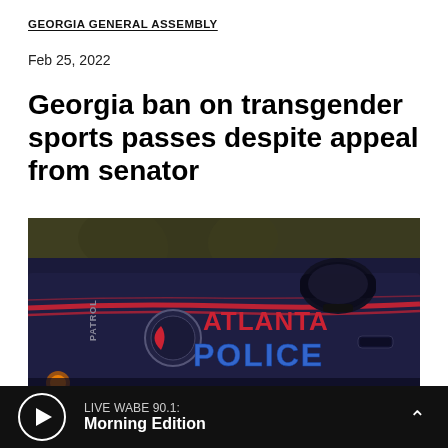GEORGIA GENERAL ASSEMBLY
Feb 25, 2022
Georgia ban on transgender sports passes despite appeal from senator
[Figure (photo): Close-up photo of an Atlanta Police patrol car door showing the 'ATLANTA POLICE' logo with red and blue lettering on a dark navy car body with red stripe accents.]
LIVE WABE 90.1: Morning Edition